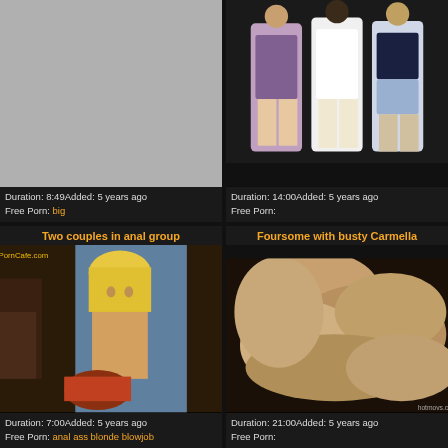[Figure (screenshot): Top-left video card: gray placeholder thumbnail, no title shown. Duration 8:49, Added 5 years ago, Free Porn: big]
[Figure (screenshot): Top-right video card: photo of three young women standing, watermark netvideogirls.com. Duration 14:00, Added 5 years ago, Free Porn: (empty)]
[Figure (screenshot): Bottom-left video card titled 'Two couples in anal group': explicit thumbnail. Duration 7:00, Added 5 years ago, Free Porn: anal ass blonde blowjob]
[Figure (screenshot): Bottom-right video card titled 'Foursome with busty Carmella': explicit thumbnail. Duration 21:00, Added 5 years ago, Free Porn: (empty)]